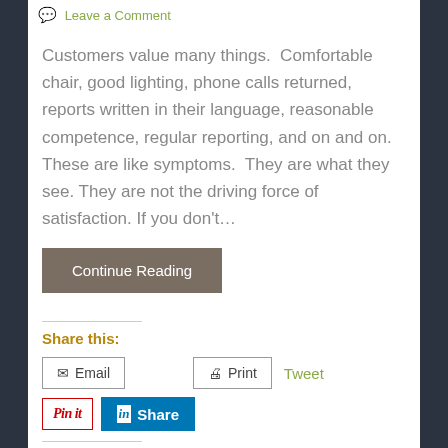Leave a Comment
Customers value many things.  Comfortable chair, good lighting, phone calls returned, reports written in their language, reasonable competence, regular reporting, and on and on. These are like symptoms.  They are what they see. They are not the driving force of satisfaction. If you don't…
Continue Reading
Share this:
Email  Print  Tweet  Pin it  Share
Like this:
Loading